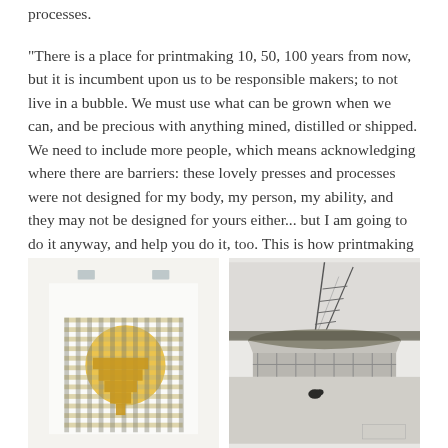processes.
“There is a place for printmaking 10, 50, 100 years from now, but it is incumbent upon us to be responsible makers; to not live in a bubble. We must use what can be grown when we can, and be precious with anything mined, distilled or shipped. We need to include more people, which means acknowledging where there are barriers: these lovely presses and processes were not designed for my body, my person, my ability, and they may not be designed for yours either... but I am going to do it anyway, and help you do it, too. This is how printmaking not only survives, but thrives.”
[Figure (illustration): Abstract geometric print with horizontal stripes in olive/yellow and gray plaid pattern, featuring a large yellow circle and rectangular stepped shapes]
[Figure (illustration): Sketch or etching of a landscape with a boat or vessel, a ladder, and a bird in a gray/black ink style]